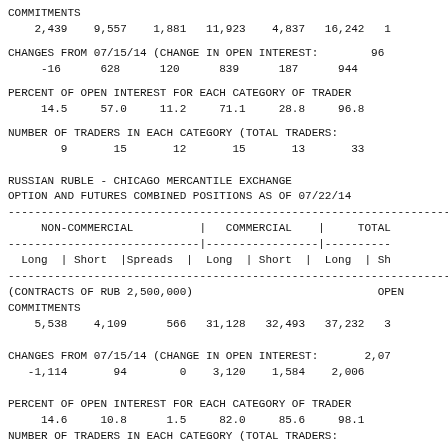COMMITMENTS
2,439    9,557    1,881   11,923    4,837   16,242   1
CHANGES FROM 07/15/14 (CHANGE IN OPEN INTEREST:        96
-16      628      120      839      187      944
PERCENT OF OPEN INTEREST FOR EACH CATEGORY OF TRADER
14.5     57.0     11.2     71.1     28.8     96.8
NUMBER OF TRADERS IN EACH CATEGORY (TOTAL TRADERS:
9       15       12       15       13       33
RUSSIAN RUBLE - CHICAGO MERCANTILE EXCHANGE
OPTION AND FUTURES COMBINED POSITIONS AS OF 07/22/14
| NON-COMMERCIAL | COMMERCIAL | TOTAL |
| --- | --- | --- |
| Long | Short |Spreads | | Long | Short | | Long | Sh |
| (CONTRACTS OF RUB 2,500,000) |  | OPEN |
| COMMITMENTS |  |  |
| 5,538    4,109      566 | 31,128   32,493 | 37,232   3 |
| CHANGES FROM 07/15/14 (CHANGE IN OPEN INTEREST: 2,07 |  |  |
| -1,114       94        0 | 3,120    1,584 | 2,006 |
| PERCENT OF OPEN INTEREST FOR EACH CATEGORY OF TRADER |  |  |
| 14.6     10.8      1.5 | 82.0     85.6 | 98.1 |
NUMBER OF TRADERS IN EACH CATEGORY (TOTAL TRADERS: